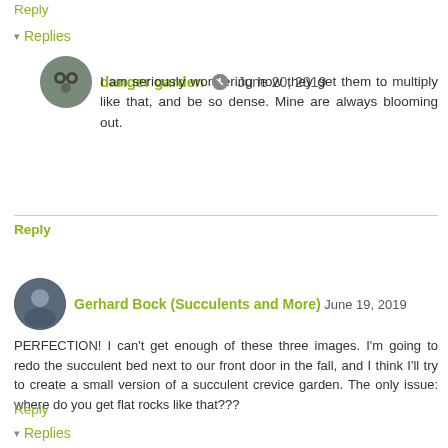Reply
▾ Replies
danger garden  June 20, 2019
I am seriously wondering how they get them to multiply like that, and be so dense. Mine are always blooming out.
Reply
Gerhard Bock (Succulents and More)  June 19, 2019
PERFECTION! I can't get enough of these three images. I'm going to redo the succulent bed next to our front door in the fall, and I think I'll try to create a small version of a succulent crevice garden. The only issue: where do you get flat rocks like that???
Reply
▾ Replies